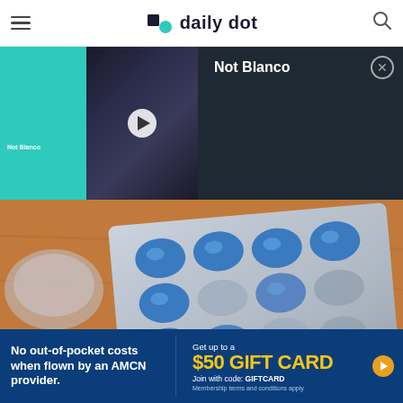daily dot
[Figure (screenshot): Video player showing 'Not Blanco' TikTok video with teal background and play button overlay on dark panel, with title 'Not Blanco' and close button]
[Figure (photo): Close-up photo of blue pills on a blister pack on a wooden surface, with some pills removed from the pack]
[Figure (infographic): Advertisement banner: 'No out-of-pocket costs when flown by an AMCN provider.' with 'Get up to a $50 GIFT CARD Join with code: GIFTCARD Membership terms and conditions apply']